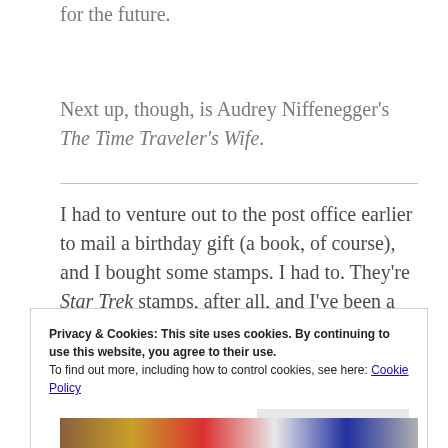for the future.
Next up, though, is Audrey Niffenegger's The Time Traveler's Wife.
I had to venture out to the post office earlier to mail a birthday gift (a book, of course), and I bought some stamps. I had to. They're Star Trek stamps, after all, and I've been a Trekkie since I was five years old.
Privacy & Cookies: This site uses cookies. By continuing to use this website, you agree to their use.
To find out more, including how to control cookies, see here: Cookie Policy
[Figure (photo): Bottom strip showing colorful Star Trek stamps]